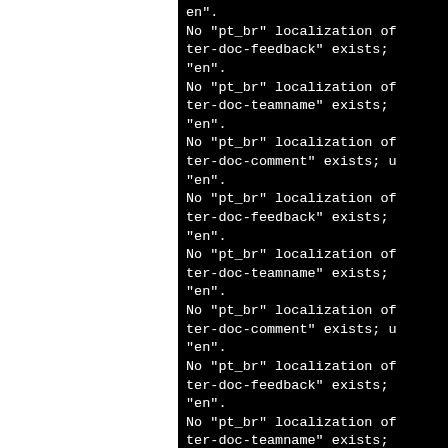No "pt_br" localization of ter-doc-feedback" exists; "en".
No "pt_br" localization of ter-doc-teamname" exists; "en".
No "pt_br" localization of ter-doc-comment" exists; u "en".
No "pt_br" localization of ter-doc-feedback" exists; "en".
No "pt_br" localization of ter-doc-teamname" exists; "en".
No "pt_br" localization of ter-doc-comment" exists; u "en".
No "pt_br" localization of ter-doc-feedback" exists; "en".
No "pt_br" localization of ter-doc-teamname" exists; "en".